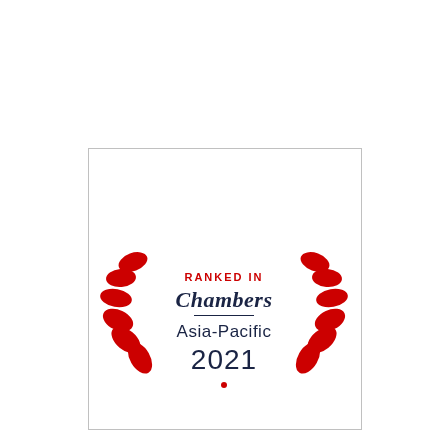[Figure (logo): Chambers Asia-Pacific 2021 ranked-in badge: red laurel wreath on either side, 'RANKED IN' in red uppercase, 'Chambers' in dark navy italic serif font with a horizontal rule, 'Asia-Pacific 2021' in dark navy sans-serif, small red dot at bottom center, all within a thin light grey rectangular border.]